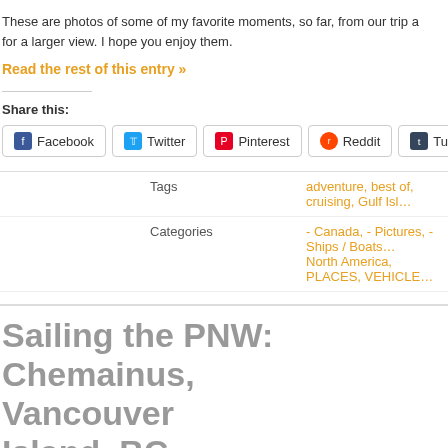These are photos of some of my favorite moments, so far, from our trip a… for a larger view. I hope you enjoy them.
Read the rest of this entry »
Share this:
Facebook  Twitter  Pinterest  Reddit  Tumblr
| Tags | adventure, best of, cruising, Gulf Isl… |
| Categories | - Canada, - Pictures, - Ships / Boats… North America, PLACES, VEHICLE… |
Sailing the PNW: Chemainus, Vancouver Island, BC
September 22, 2013 //